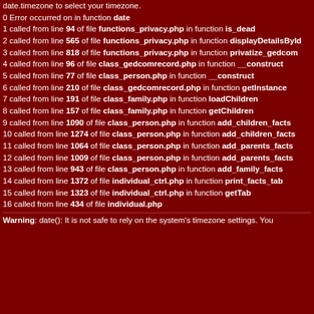date.timezone to select your timezone.
0 Error occurred on in function date
1 called from line 94 of file functions_privacy.php in function is_dead
2 called from line 565 of file functions_privacy.php in function displayDetailsById
3 called from line 818 of file functions_privacy.php in function privatize_gedcom
4 called from line 96 of file class_gedcomrecord.php in function __construct
5 called from line 77 of file class_person.php in function __construct
6 called from line 210 of file class_gedcomrecord.php in function getInstance
7 called from line 191 of file class_family.php in function loadChildren
8 called from line 157 of file class_family.php in function getChildren
9 called from line 1090 of file class_person.php in function add_children_facts
10 called from line 1274 of file class_person.php in function add_children_facts
11 called from line 1064 of file class_person.php in function add_parents_facts
12 called from line 1009 of file class_person.php in function add_parents_facts
13 called from line 943 of file class_person.php in function add_family_facts
14 called from line 1372 of file individual_ctrl.php in function print_facts_tab
15 called from line 1323 of file individual_ctrl.php in function getTab
16 called from line 434 of file individual.php
Warning: date(): It is not safe to rely on the system's timezone settings. You